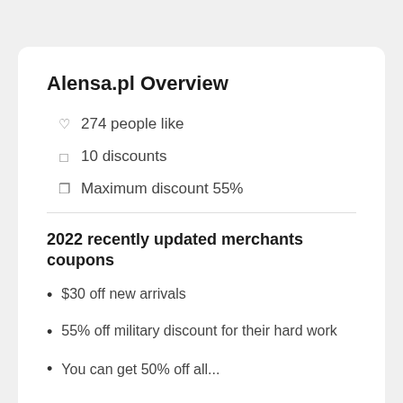Alensa.pl Overview
274 people like
10 discounts
Maximum discount 55%
2022 recently updated merchants coupons
$30 off new arrivals
55% off military discount for their hard work
You can get 50% off all...